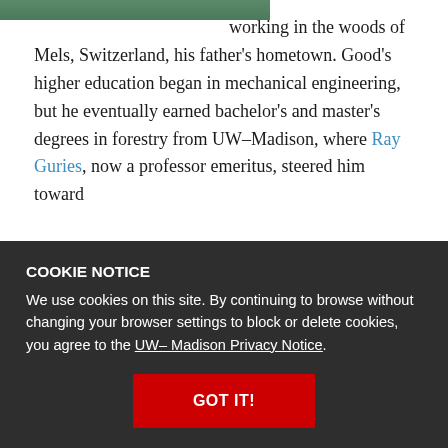[Figure (photo): Partial photo of a person, cropped at top, showing green/teal background colors]
working in the woods of Mels, Switzerland, his father's hometown. Good's higher education began in mechanical engineering, but he eventually earned bachelor's and master's degrees in forestry from UW–Madison, where Ray Guries, now a professor emeritus, steered him toward pursuing his graduate studies. Good recalled working with R. Bruce Allison, another mentor him nudge toward commercial silviculture. I keep in touch with both Ray and Allison today, says Good.
COOKIE NOTICE
We use cookies on this site. By continuing to browse without changing your browser settings to block or delete cookies, you agree to the UW–Madison Privacy Notice.
GOT IT!